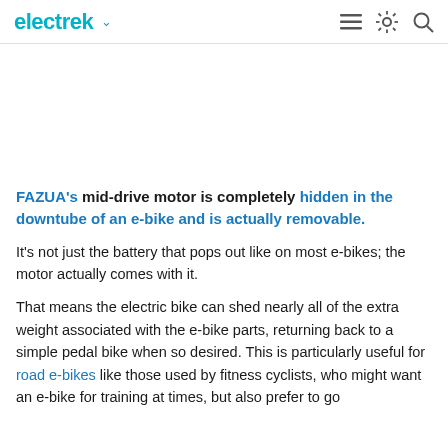electrek
FAZUA's mid-drive motor is completely hidden in the downtube of an e-bike and is actually removable.
It's not just the battery that pops out like on most e-bikes; the motor actually comes with it.
That means the electric bike can shed nearly all of the extra weight associated with the e-bike parts, returning back to a simple pedal bike when so desired. This is particularly useful for road e-bikes like those used by fitness cyclists, who might want an e-bike for training at times, but also prefer to go